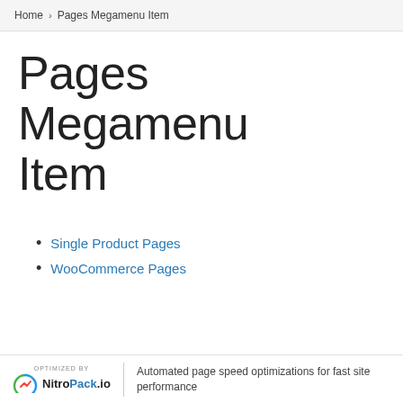Home > Pages Megamenu Item
Pages Megamenu Item
Single Product Pages
WooCommerce Pages
OPTIMIZED BY NitroPack.io | Automated page speed optimizations for fast site performance